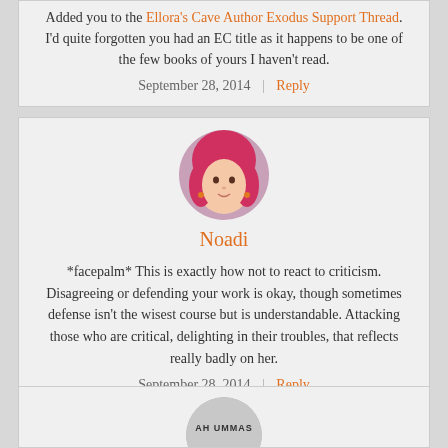Added you to the Ellora's Cave Author Exodus Support Thread. I'd quite forgotten you had an EC title as it happens to be one of the few books of yours I haven't read.
September 28, 2014 | Reply
[Figure (photo): Circular avatar photo of Noadi, a person with pink/red hair]
Noadi
*facepalm* This is exactly how not to react to criticism. Disagreeing or defending your work is okay, though sometimes defense isn't the wisest course but is understandable. Attacking those who are critical, delighting in their troubles, that reflects really badly on her.
September 28, 2014 | Reply
[Figure (photo): Partial circular avatar at bottom of page, partially visible, appears to show text AH UMMAS]